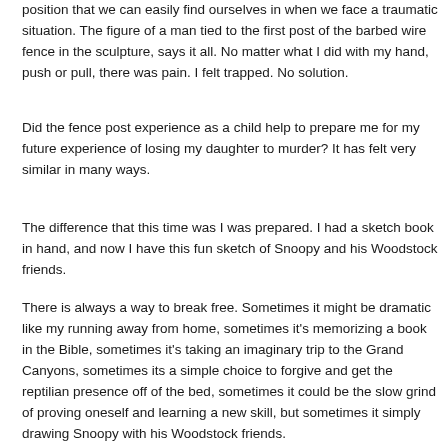position that we can easily find ourselves in when we face a traumatic situation. The figure of a man tied to the first post of the barbed wire fence in the sculpture, says it all. No matter what I did with my hand, push or pull, there was pain. I felt trapped. No solution.
Did the fence post experience as a child help to prepare me for my future experience of losing my daughter to murder? It has felt very similar in many ways.
The difference that this time was I was prepared. I had a sketch book in hand, and now I have this fun sketch of Snoopy and his Woodstock friends.
There is always a way to break free. Sometimes it might be dramatic like my running away from home, sometimes it's memorizing a book in the Bible, sometimes it's taking an imaginary trip to the Grand Canyons, sometimes its a simple choice to forgive and get the reptilian presence off of the bed, sometimes it could be the slow grind of proving oneself and learning a new skill, but sometimes it simply drawing Snoopy with his Woodstock friends.